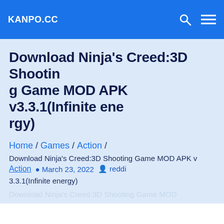KANPO.CC
Download Ninja's Creed:3D Shooting Game MOD APK v3.3.1(Infinite energy)
Home / Games / Action /
Download Ninja's Creed:3D Shooting Game MOD APK v3.3.1(Infinite energy)
Action  March 23, 2022  reddi
Download Ninja's Creed:3D Shooting Game MOD